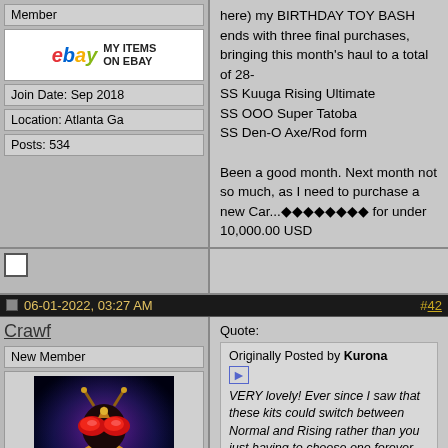Member
[Figure (logo): eBay logo with text MY ITEMS ON EBAY]
Join Date: Sep 2018
Location: Atlanta Ga
Posts: 534
here) my BIRTHDAY TOY BASH ends with three final purchases, bringing this month's haul to a total of 28-
SS Kuuga Rising Ultimate
SS OOO Super Tatoba
SS Den-O Axe/Rod form

Been a good month. Next month not so much, as I need to purchase a new Car...🔶🔶🔶🔶🔶🔶🔶🔶 for under 10,000.00 USD
06-01-2022, 03:27 AM  #42
Crawf
New Member
[Figure (photo): Avatar showing a Kamen Rider figure with golden armor and red compound eyes against a dark purple/blue background]
Join Date: Nov 2017
Quote:
Originally Posted by Kurona
VERY lovely! Ever since I saw that these kits could switch between Normal and Rising rather than you just having to choose one forever (albeit with the exception of